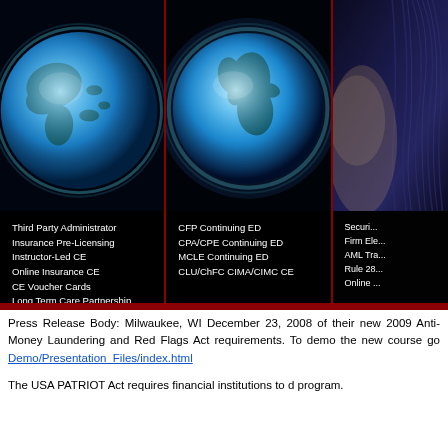[Figure (illustration): Three-panel banner: left panel shows a glowing blue Earth globe on dark background, center panel shows another blue Earth globe on dark background, right panel shows a partial view of a person with dark hair against dark blue background. Each panel has a text box at the bottom listing services.]
Third Party Administrator
Insurance Pre-Licensing
Instructor-Led CE
Online Insurance CE
CE Voucher Cards
Long Term Care Partnership
CFP Continuing ED
CPA/CPE Continuing ED
MCLE Continuing ED
CLU/ChFC CIMA/CIMC CE
Securi...
Firm Ele...
AML Tra...
Rule 28...
Online ...
Press Release Body: Milwaukee, WI December 23, 2008 of their new 2009 Anti-Money Laundering and Red Flags Act requirements. To demo the new course go Demo/Presentation_Files/index.html
The USA PATRIOT Act requires financial institutions to d program.